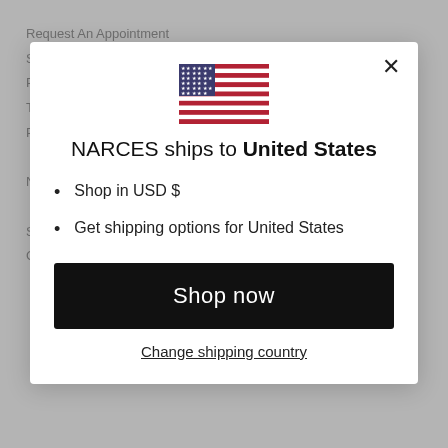Request An Appointment
[Figure (screenshot): Modal dialog with US flag, shipping info for United States, Shop now button, and Change shipping country link]
NARCES ships to United States
Shop in USD $
Get shipping options for United States
Shop now
Change shipping country